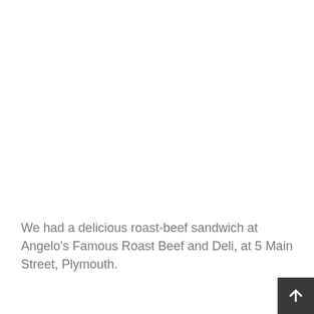We had a delicious roast-beef sandwich at Angelo's Famous Roast Beef and Deli, at 5 Main Street, Plymouth.